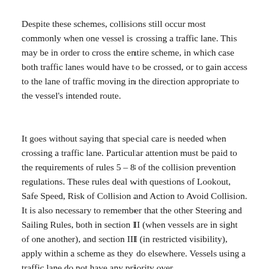Despite these schemes, collisions still occur most commonly when one vessel is crossing a traffic lane. This may be in order to cross the entire scheme, in which case both traffic lanes would have to be crossed, or to gain access to the lane of traffic moving in the direction appropriate to the vessel's intended route.
It goes without saying that special care is needed when crossing a traffic lane. Particular attention must be paid to the requirements of rules 5 – 8 of the collision prevention regulations. These rules deal with questions of Lookout, Safe Speed, Risk of Collision and Action to Avoid Collision. It is also necessary to remember that the other Steering and Sailing Rules, both in section II (when vessels are in sight of one another), and section III (in restricted visibility), apply within a scheme as they do elsewhere. Vessels using a traffic lane do not have any priority over